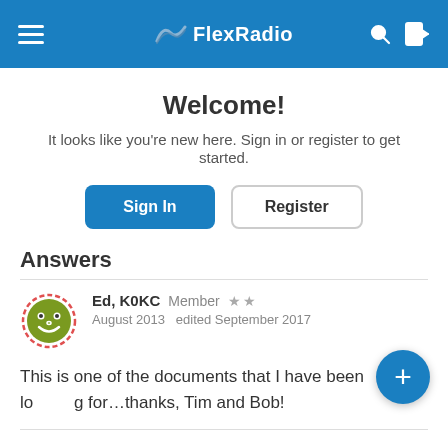FlexRadio
Welcome!
It looks like you're new here. Sign in or register to get started.
Sign In  Register
Answers
Ed, K0KC  Member  ★★
August 2013  edited September 2017
This is one of the documents that I have been looking for…thanks, Tim and Bob!